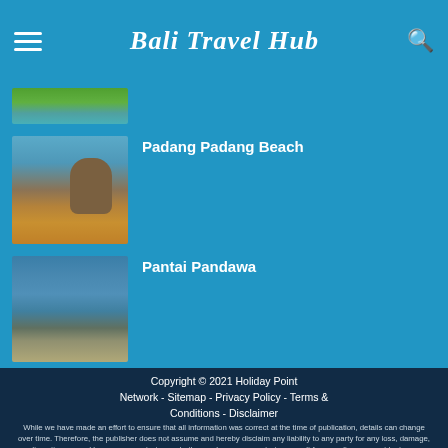Bali Travel Hub
[Figure (photo): Partial beach/tropical image at top]
Padang Padang Beach
[Figure (photo): Padang Padang Beach - rocky coastal scene with clear blue water and large rocks]
Pantai Pandawa
[Figure (photo): Pantai Pandawa - calm ocean water with sandy beach]
Copyright © 2021 Holiday Point Network - Sitemap - Privacy Policy - Terms & Conditions - Disclaimer
While we have made an effort to ensure that all information was correct at the time of publication, details can change over time. Therefore, the publisher does not assume and hereby disclaim any liability to any party for any loss, damage, or disruption caused by errors or omissions, whether such errors or omissions result from negligence, accident, or any other cause.